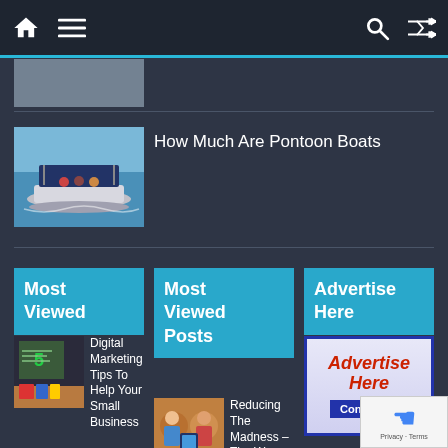Navigation bar with home, menu, search, and shuffle icons
[Figure (screenshot): Partial cropped image at top left, partially visible from scroll position]
How Much Are Pontoon Boats
[Figure (photo): Pontoon boat on water with people aboard]
Most Viewed
Most Viewed Posts
Advertise Here
Digital Marketing Tips To Help Your Small Business
[Figure (photo): Digital marketing thumbnail image with chalkboard]
Reducing The Madness – The Ways Power
[Figure (photo): People working with technology thumbnail]
[Figure (advertisement): Advertise Here banner with Contact Us button in blue/red style]
[Figure (logo): Google reCAPTCHA badge with Privacy and Terms links]